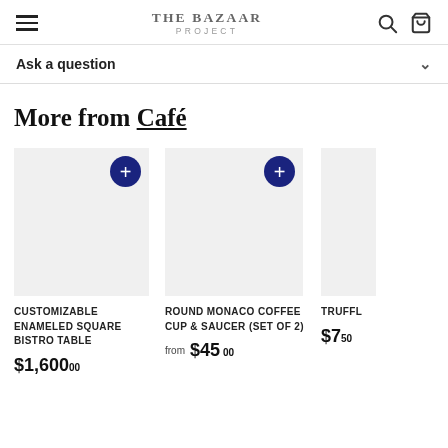THE BAZAAR PROJECT
Ask a question
More from Café
CUSTOMIZABLE ENAMELED SQUARE BISTRO TABLE
$1,600.00
ROUND MONACO COFFEE CUP & SAUCER (SET OF 2)
from $45.00
TRUFFL
$7.50